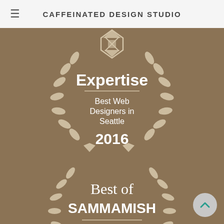CAFFEINATED DESIGN STUDIO
[Figure (illustration): Expertise badge with laurel wreath, diamond logo, text 'Expertise', 'Best Web Designers in Seattle', '2016', on brown background]
[Figure (illustration): Best of Sammamish badge with laurel wreath, text 'Best of SAMMAMISH', 'Web Design', on brown background]
[Figure (illustration): Scroll-to-top button, circular, teal chevron up arrow]